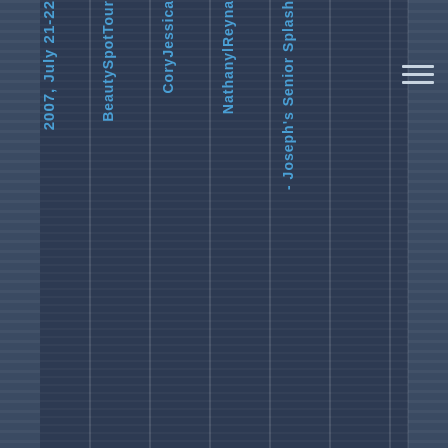2007, July 21-22
BeautySpotTour
CoryJessica
Nathanyal Reyna
- Joseph's Senior Splash